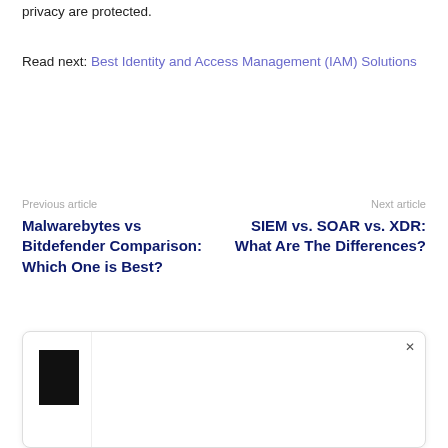privacy are protected.
Read next: Best Identity and Access Management (IAM) Solutions
Previous article
Malwarebytes vs Bitdefender Comparison: Which One is Best?
Next article
SIEM vs. SOAR vs. XDR: What Are The Differences?
[Figure (other): Card box with a black image thumbnail and a close (x) button in the top right corner]